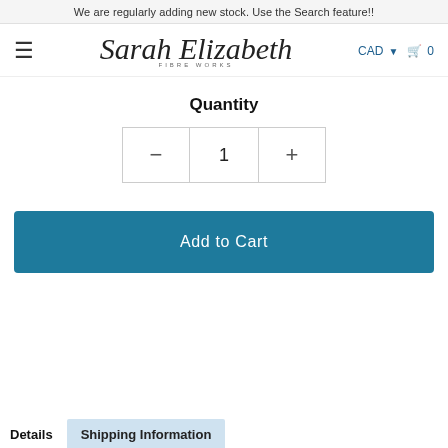We are regularly adding new stock. Use the Search feature!!
[Figure (logo): Sarah Elizabeth Fibre Works script logo with navigation bar including hamburger menu, CAD currency selector, and cart icon showing 0]
Quantity
[Figure (other): Quantity selector with minus button, quantity display showing 1, and plus button]
Add to Cart
Details  Shipping Information